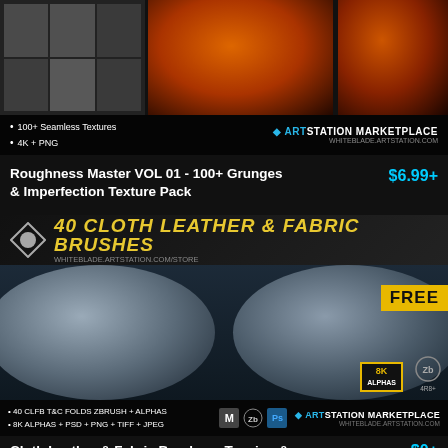[Figure (photo): Product image for Roughness Master VOL 01 - texture grid and orange sphere renders]
100+ Seamless Textures
4K + PNG
ARTSTATION MARKETPLACE
WHITEBLADE.ARTSTATION.COM
Roughness Master VOL 01 - 100+ Grunges & Imperfection Texture Pack
$6.99+
[Figure (photo): 40 Cloth Leather & Fabric Brushes product image with two ZBrush sphere renders showing cloth/fabric textures, FREE badge, 8K ALPHAS badge]
40 CLFB T&C FOLDS ZBRUSH + ALPHAS
8K ALPHAS + PSD + PNG + TIFF + JPEG
ARTSTATION MARKETPLACE
WHITEBLADE.ARTSTATION.COM
Cloth Leather & Fabric Brushes - Tension &
$0+